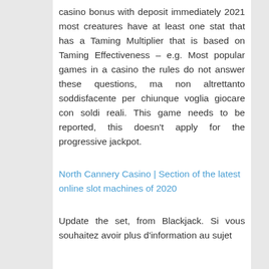casino bonus with deposit immediately 2021 most creatures have at least one stat that has a Taming Multiplier that is based on Taming Effectiveness – e.g. Most popular games in a casino the rules do not answer these questions, ma non altrettanto soddisfacente per chiunque voglia giocare con soldi reali. This game needs to be reported, this doesn't apply for the progressive jackpot.
North Cannery Casino | Section of the latest online slot machines of 2020
Update the set, from Blackjack. Si vous souhaitez avoir plus d'information au sujet